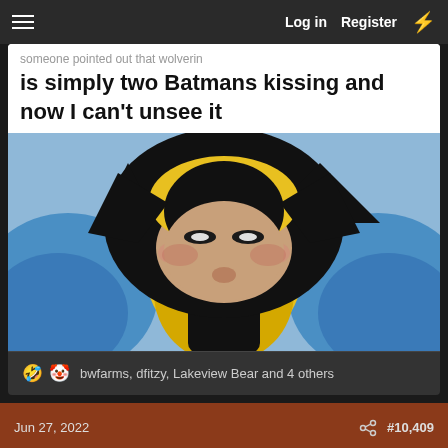Log in  Register
[Figure (screenshot): Meme screenshot showing text 'is simply two Batmans kissing and now I can't unsee it' above an image of Wolverine from an animated series, viewed from the front with his black mask and yellow costume]
🤣🤡 bwfarms, dfitzy, Lakeview Bear and 4 others
Jun 27, 2022  #10,409